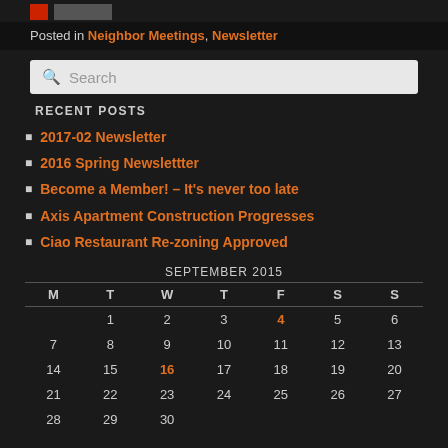[logo bar]
Posted in Neighbor Meetings, Newsletter
[Figure (other): Search input box with magnifying glass icon and placeholder text 'Search']
RECENT POSTS
2017-02 Newsletter
2016 Spring Newslettter
Become a Member! – It's never too late
Axis Apartment Construction Progresses
Ciao Restaurant Re-zoning Approved
| M | T | W | T | F | S | S |
| --- | --- | --- | --- | --- | --- | --- |
|  | 1 | 2 | 3 | 4 | 5 | 6 |
| 7 | 8 | 9 | 10 | 11 | 12 | 13 |
| 14 | 15 | 16 | 17 | 18 | 19 | 20 |
| 21 | 22 | 23 | 24 | 25 | 26 | 27 |
| 28 | 29 | 30 |  |  |  |  |